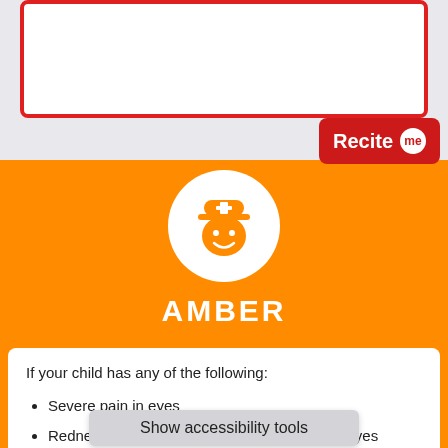[Figure (illustration): Red-bordered white box (partial, cut off at top of page)]
[Figure (logo): Recite me button - red background with white text 'Recite' and 'me' in a white speech bubble circle]
[Figure (illustration): Orange AMBER section with a white circle containing an orange nurse icon]
AMBER
If your child has any of the following:
Severe pain in eyes
Redness and swelling of the skin around the eyes
Is c... nd
Show accessibility tools